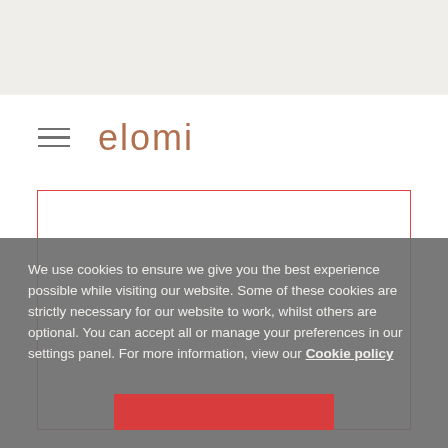[Figure (logo): Elomi brand logo with hamburger menu icon — three horizontal lines in grey followed by 'elomi' in light brown/terracotta thin font]
[Figure (other): White content area with red-outlined rectangle placeholder, partially obscured by cookie consent overlay]
We use cookies to ensure we give you the best experience possible while visiting our website. Some of these cookies are strictly necessary for our website to work, whilst others are optional. You can accept all or manage your preferences in our settings panel. For more information, view our Cookie policy